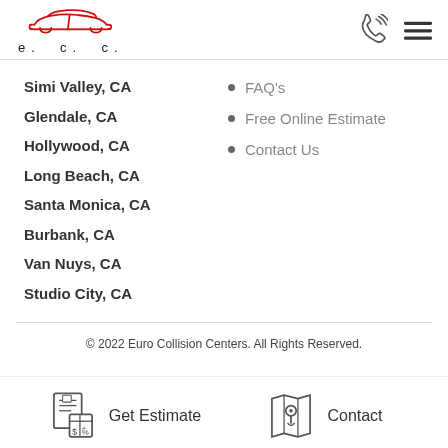[Figure (logo): Euro Collision Centers logo with red car silhouette above stylized e.c.c. text]
[Figure (illustration): Phone with signal waves icon and hamburger menu icon in header]
Simi Valley, CA
Glendale, CA
Hollywood, CA
Long Beach, CA
Santa Monica, CA
Burbank, CA
Van Nuys, CA
Studio City, CA
FAQ's
Free Online Estimate
Contact Us
© 2022 Euro Collision Centers. All Rights Reserved.
[Figure (illustration): Get Estimate icon (calculator with document) and Contact icon (map with pin)]